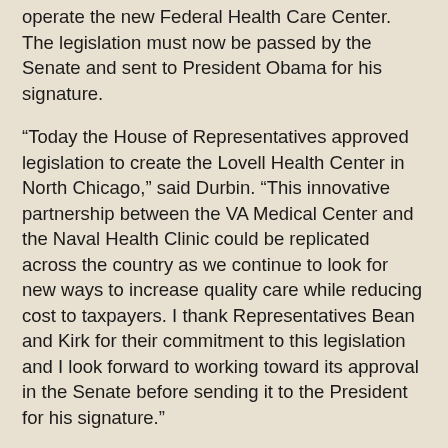operate the new Federal Health Care Center. The legislation must now be passed by the Senate and sent to President Obama for his signature.
“Today the House of Representatives approved legislation to create the Lovell Health Center in North Chicago,” said Durbin. “This innovative partnership between the VA Medical Center and the Naval Health Clinic could be replicated across the country as we continue to look for new ways to increase quality care while reducing cost to taxpayers. I thank Representatives Bean and Kirk for their commitment to this legislation and I look forward to working toward its approval in the Senate before sending it to the President for his signature.”
“I was proud to join my House colleagues in passing this provision, and commend Senator Durbin in working to include it in the Senate authorization bill. By combing the VA Medical Center with the Naval Health Clinic, we will provide quality care to active duty personnel, veterans, and military retirees while saving the taxpayers $80 million in construction costs, using our resources efficiently and effectively.